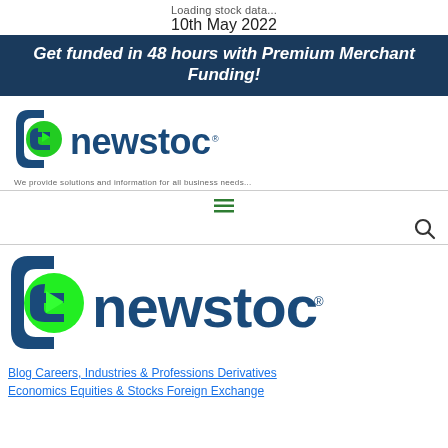Loading stock data...
10th May 2022
Get funded in 48 hours with Premium Merchant Funding!
[Figure (logo): eNewstoc logo - dark blue and green letter e with play button, followed by 'newstoc' text in dark blue]
We provide solutions and information for all business needs...
[Figure (infographic): Hamburger menu icon (three green lines)]
[Figure (infographic): Search magnifying glass icon]
[Figure (logo): eNewstoc logo larger version - dark blue and green letter e with play button, followed by 'newstoc' text in dark blue]
Blog Careers, Industries & Professions Derivatives Economics Equities & Stocks Foreign Exchange